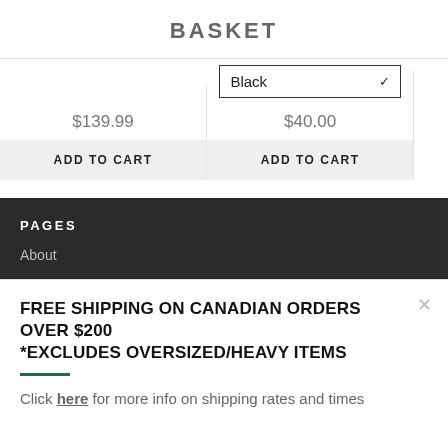BASKET
[Figure (screenshot): E-commerce basket page showing two product columns. Left column: price $139.99 and ADD TO CART button. Right column: Black color dropdown selector, price $40.00, and ADD TO CART button. Partial third column visible at right edge.]
PAGES
About
FREE SHIPPING ON CANADIAN ORDERS OVER $200
*EXCLUDES OVERSIZED/HEAVY ITEMS
Click here for more info on shipping rates and times